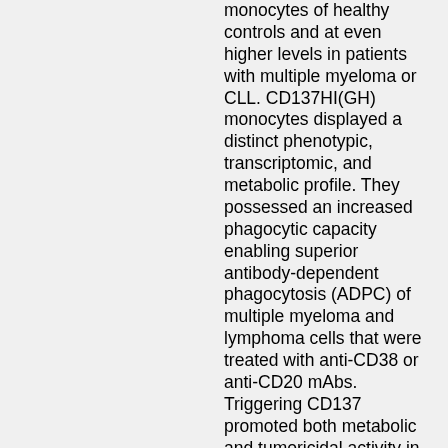monocytes of healthy controls and at even higher levels in patients with multiple myeloma or CLL. CD137HI(GH) monocytes displayed a distinct phenotypic, transcriptomic, and metabolic profile. They possessed an increased phagocytic capacity enabling superior antibody-dependent phagocytosis (ADPC) of multiple myeloma and lymphoma cells that were treated with anti-CD38 or anti-CD20 mAbs. Triggering CD137 promoted both metabolic and tumoricidal activity in an extracellular signal-regulated kinase (ERK)-dependent fashion. In addition, we observed a phenotypic, transcriptomic, and functional skewing towards a M1-like phenotype. Overall, we